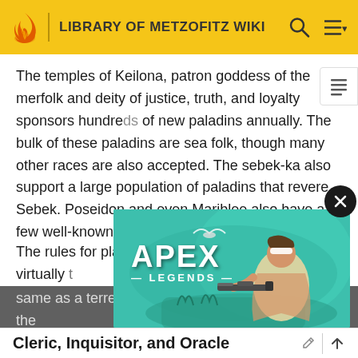LIBRARY OF METZOFITZ WIKI
The temples of Keilona, patron goddess of the merfolk and deity of justice, truth, and loyalty sponsors hundreds of new paladins annually. The bulk of these paladins are sea folk, though many other races are also accepted. The sebek-ka also support a large population of paladins that revere Sebek. Poseidon and even Mariblee also have a few well-known paladins to carry their banner.
The rules for playing an undersea paladin are virtually the same as a terrestrial paladin. The only difference is the mount, ... s of hippoca...
[Figure (screenshot): Apex Legends game advertisement banner showing a character aiming a sniper rifle against a teal/green background]
Cleric, Inquisitor, and Oracle